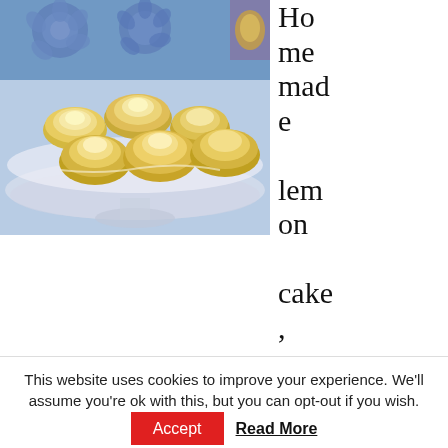[Figure (photo): Photo of homemade lemon rose-shaped mini cakes on a decorative glass cake stand, with blue silicone rose molds in the background.]
Homemade lemon cake, plain or fancy: from great old-fashioned lemon pound cake to lemon meringue cake (and so a lot in-involving), you'll learn a variety of lemon cake treats suited
This website uses cookies to improve your experience. We'll assume you're ok with this, but you can opt-out if you wish.
Accept   Read More